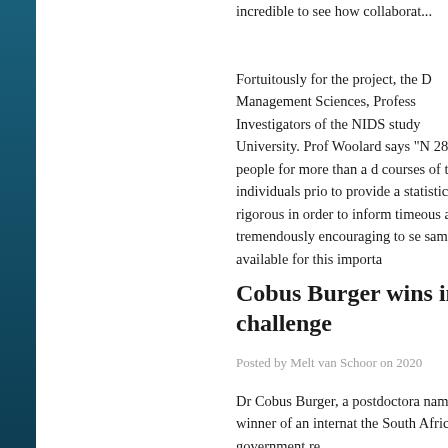incredible to see how collaborat...
Fortuitously for the project, the D... Management Sciences, Profess... Investigators of the NIDS study ... University. Prof Woolard says "N... 28,000 people for more than a d... courses of these individuals prio... to provide a statistically rigorous... in order to inform timeous and ta... tremendously encouraging to se... sample available for this importa...
Cobus Burger wins int... challenge
Posted by Melt van Schoor on 2020...
Dr Cobus Burger, a postdoctora... named the winner of an internat... the South African government re...
The competition – from October... data scientists from across the d... build a machine learning model ... next road incident will occur in S...